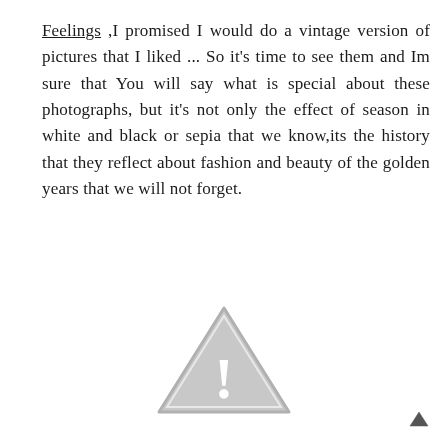Feelings ,I promised I would do a vintage version of pictures that I liked ... So it's time to see them and Im sure that You will say what is special about these photographs, but it's not only the effect of season in white and black or sepia that we know,its the history that they reflect about fashion and beauty of the golden years that we will not forget.
[Figure (illustration): A grey warning/caution triangle icon with an exclamation mark inside]